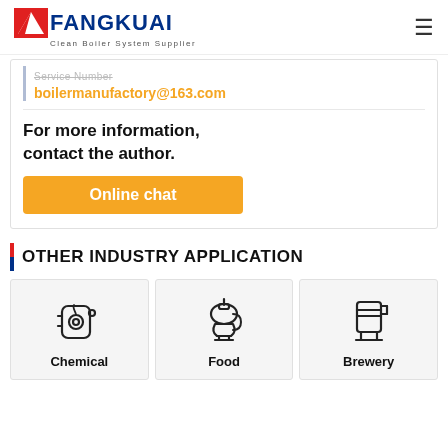FANGKUAI Clean Boiler System Supplier
Service Number
boilermanufactory@163.com
For more information, contact the author.
Online chat
OTHER INDUSTRY APPLICATION
[Figure (illustration): Chemical industry icon - boiler/pressure vessel icon]
Chemical
[Figure (illustration): Food industry icon - stand mixer icon]
Food
[Figure (illustration): Brewery industry icon - beer glass icon]
Brewery